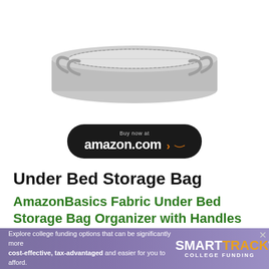[Figure (photo): A gray fabric under-bed storage bag with clear plastic top panel and handles on the sides, viewed from a slight angle showing its flat rectangular shape.]
[Figure (other): Buy now at amazon.com button - dark oval/pill-shaped button with amazon.com branding and orange arrow]
Under Bed Storage Bag
AmazonBasics Fabric Under Bed Storage Bag Organizer with Handles
Dorms generally provide little living and storage space, so you'll want to maximize the amount of space you have with storage
Explore college funding options that can be significantly more cost-effective, tax-advantaged and easier for you to afford.
[Figure (logo): SMARTTRACK COLLEGE FUNDING logo in white and orange on purple background]